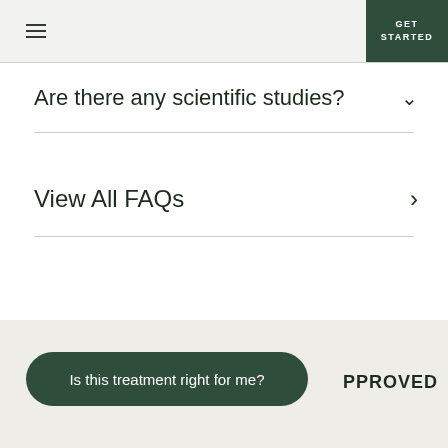UN  GET STARTED
Are there any scientific studies?
View All FAQs
Is this treatment right for me?
PPROVED